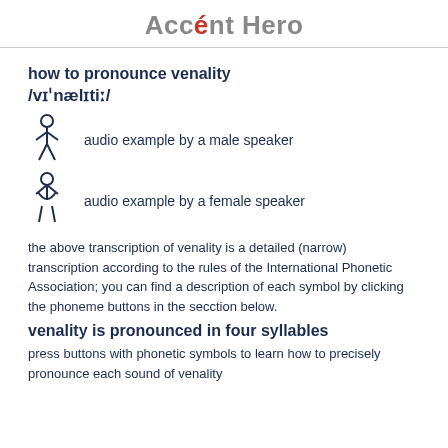Accént Hero
how to pronounce venality
/vɪˈnælɪtiː/
audio example by a male speaker
audio example by a female speaker
the above transcription of venality is a detailed (narrow) transcription according to the rules of the International Phonetic Association; you can find a description of each symbol by clicking the phoneme buttons in the secction below.
venality is pronounced in four syllables
press buttons with phonetic symbols to learn how to precisely pronounce each sound of venality